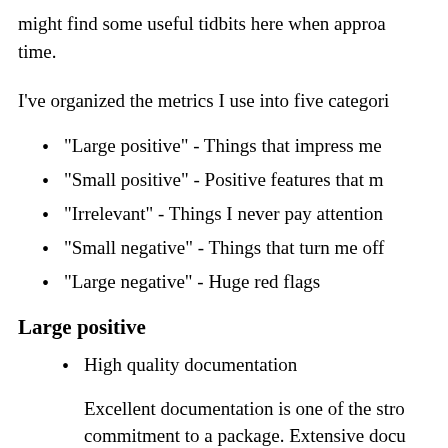might find some useful tidbits here when approa time.
I've organized the metrics I use into five categori
"Large positive" - Things that impress me
"Small positive" - Positive features that m
"Irrelevant" - Things I never pay attention
"Small negative" - Things that turn me off
"Large negative" - Huge red flags
Large positive
High quality documentation
Excellent documentation is one of the stro commitment to a package. Extensive docu